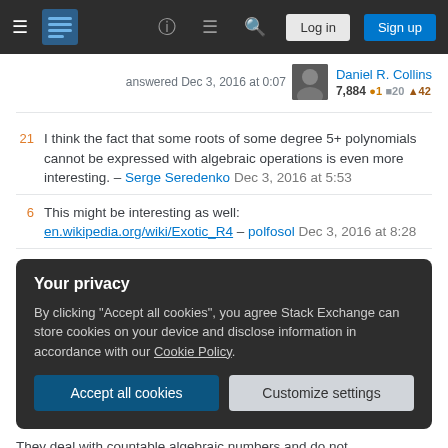Stack Exchange navigation bar with Log in and Sign up buttons
answered Dec 3, 2016 at 0:07
Daniel R. Collins 7,884 ●1 ■20 ▲42
21 I think the fact that some roots of some degree 5+ polynomials cannot be expressed with algebraic operations is even more interesting. – Serge Seredenko Dec 3, 2016 at 5:53
6 This might be interesting as well: en.wikipedia.org/wiki/Exotic_R4 – polfosol Dec 3, 2016 at 8:28
Your privacy
By clicking "Accept all cookies", you agree Stack Exchange can store cookies on your device and disclose information in accordance with our Cookie Policy.
They deal with countable algebraic numbers and do not